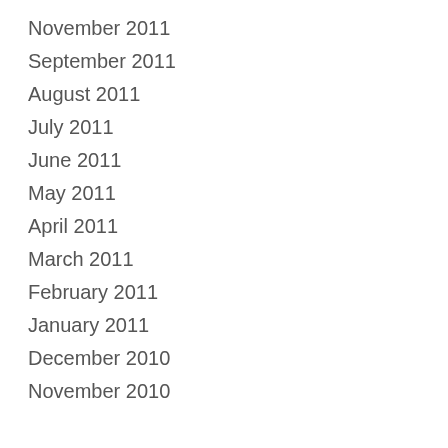November 2011
September 2011
August 2011
July 2011
June 2011
May 2011
April 2011
March 2011
February 2011
January 2011
December 2010
November 2010